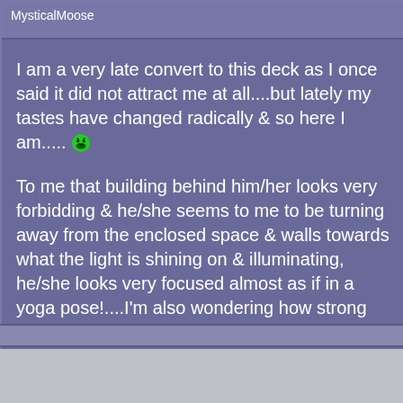MysticalMoose
I am a very late convert to this deck as I once said it did not attract me at all....but lately my tastes have changed radically & so here I am..... 😈
To me that building behind him/her looks very forbidding & he/she seems to me to be turning away from the enclosed space & walls towards what the light is shining on & illuminating, he/she looks very focused almost as if in a yoga pose!....I'm also wondering how strong that structure is that he is standing on & whether he will have taken the leap & moved on before it gives way....
Top  #23